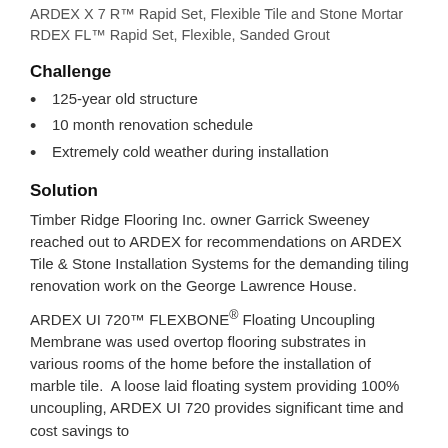ARDEX X 7 R™ Rapid Set, Flexible Tile and Stone Mortar
RDEX FL™ Rapid Set, Flexible, Sanded Grout
Challenge
125-year old structure
10 month renovation schedule
Extremely cold weather during installation
Solution
Timber Ridge Flooring Inc. owner Garrick Sweeney reached out to ARDEX for recommendations on ARDEX Tile & Stone Installation Systems for the demanding tiling renovation work on the George Lawrence House.
ARDEX UI 720™ FLEXBONE® Floating Uncoupling Membrane was used overtop flooring substrates in various rooms of the home before the installation of marble tile.  A loose laid floating system providing 100% uncoupling, ARDEX UI 720 provides significant time and cost savings to